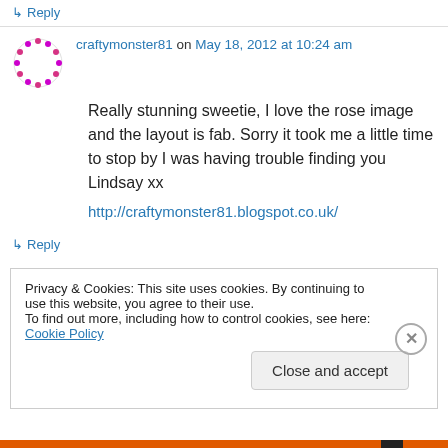↳ Reply
craftymonster81 on May 18, 2012 at 10:24 am
Really stunning sweetie, I love the rose image and the layout is fab. Sorry it took me a little time to stop by I was having trouble finding you Lindsay xx
http://craftymonster81.blogspot.co.uk/
↳ Reply
Privacy & Cookies: This site uses cookies. By continuing to use this website, you agree to their use. To find out more, including how to control cookies, see here: Cookie Policy
Close and accept